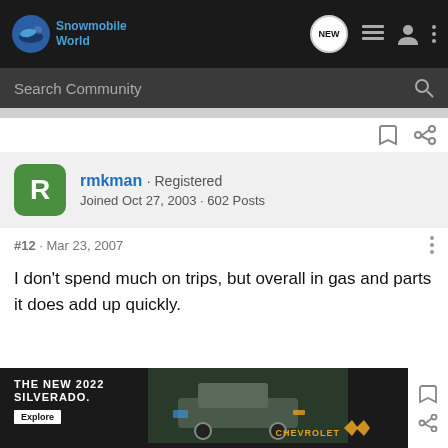Snowmobile World
Search Community
rmkman · Registered
Joined Oct 27, 2003 · 602 Posts
#12 · Mar 23, 2007
I don't spend much on trips, but overall in gas and parts it does add up quickly.
[Figure (photo): Advertisement banner for The New 2022 Silverado by Chevrolet with an Explore button and image of a truck]